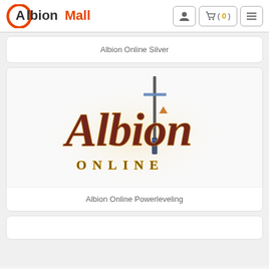AlbionMall
Albion Online Silver
[Figure (logo): Albion Online game logo with stylized fantasy lettering and a sword graphic, text reads 'Albion ONLINE']
Albion Online Powerleveling